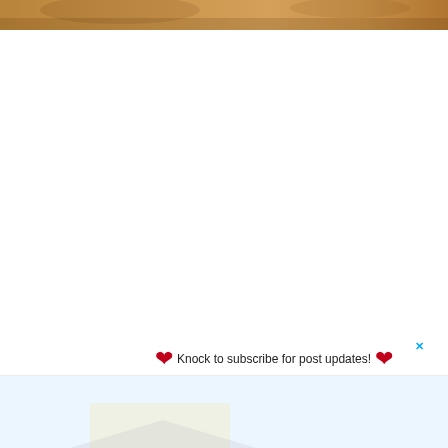[Figure (photo): Top portion of a photo showing a warm brownish/orange background, partially cut off at top of page]
♥ Knock to subscribe for post updates! ♥
[Figure (photo): House with yellow siding, gray roof, green trees, blue sky, with a reflection below showing the house mirrored]